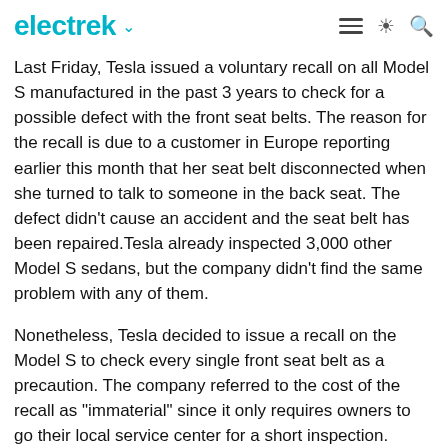electrek
Last Friday, Tesla issued a voluntary recall on all Model S manufactured in the past 3 years to check for a possible defect with the front seat belts. The reason for the recall is due to a customer in Europe reporting earlier this month that her seat belt disconnected when she turned to talk to someone in the back seat. The defect didn't cause an accident and the seat belt has been repaired.Tesla already inspected 3,000 other Model S sedans, but the company didn't find the same problem with any of them.
Nonetheless, Tesla decided to issue a recall on the Model S to check every single front seat belt as a precaution. The company referred to the cost of the recall as "immaterial" since it only requires owners to go their local service center for a short inspection. Owners who already completed the inspection are reporting that they were in and out in under 5 minutes, but to make it even less on an inconvenience, Tesla dispatched technicians to Supercharger stations to inspect the seat belts while the cars are charging.